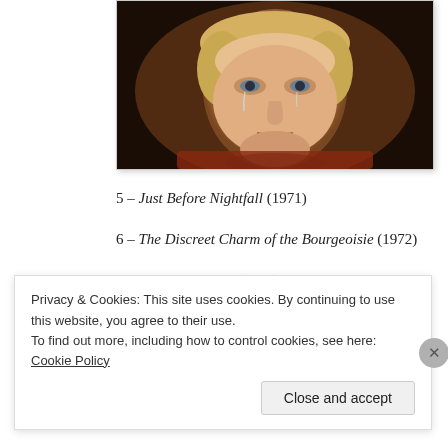[Figure (photo): A close-up film still of a woman with short blonde hair and tears on her face, dark background with warm tones.]
5 – Just Before Nightfall (1971)
6 – The Discreet Charm of the Bourgeoisie (1972)
7 – Violette Nozière (1978)
Privacy & Cookies: This site uses cookies. By continuing to use this website, you agree to their use.
To find out more, including how to control cookies, see here: Cookie Policy